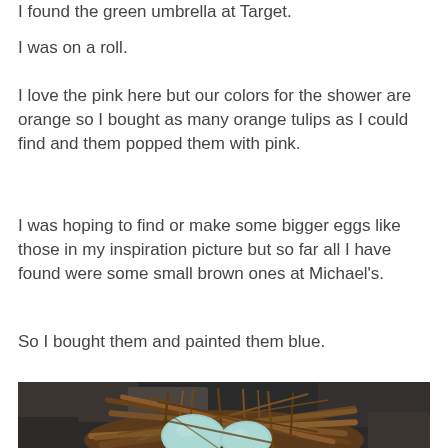I found the green umbrella at Target.
I was on a roll.
I love the pink here but our colors for the shower are orange so I bought as many orange tulips as I could find and them popped them with pink.
I was hoping to find or make some bigger eggs like those in my inspiration picture but so far all I have found were some small brown ones at Michael's.
So I bought them and painted them blue.
[Figure (photo): A bird's nest woven from brown twigs containing two light blue eggs, photographed from above against a dark rocky background.]